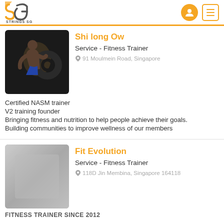Strings SG - logo, user icon, menu icon
Shi long Ow
Service - Fitness Trainer
91 Moulmein Road, Singapore
[Figure (photo): Fitness trainer man exercising with large tire in dark background]
Certified NASM trainer
V2 training founder
Bringing fitness and nutrition to help people achieve their goals.
Building communities to improve wellness of our members
Fit Evolution
Service - Fitness Trainer
118D Jin Membina, Singapore 164118
[Figure (photo): Blurred/placeholder gray image for Fit Evolution]
FITNESS TRAINER SINCE 2012